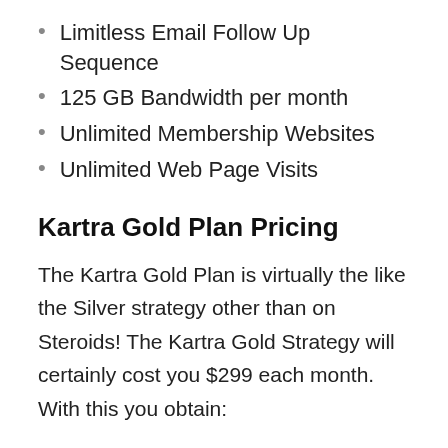Limitless Email Follow Up Sequence
125 GB Bandwidth per month
Unlimited Membership Websites
Unlimited Web Page Visits
Kartra Gold Plan Pricing
The Kartra Gold Plan is virtually the like the Silver strategy other than on Steroids! The Kartra Gold Strategy will certainly cost you $299 each month. With this you obtain:
250,000 emails each month
Approximately 25,000 contacts